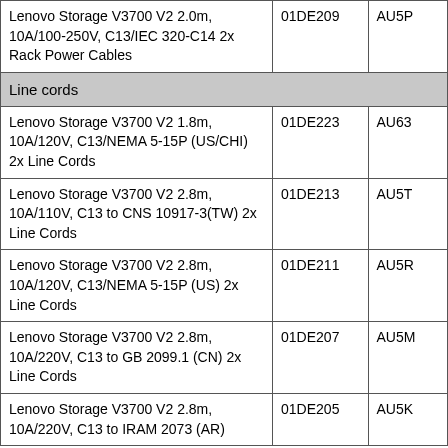| Product | Part Number | Feature Code |
| --- | --- | --- |
| Lenovo Storage V3700 V2 2.0m, 10A/100-250V, C13/IEC 320-C14 2x Rack Power Cables | 01DE209 | AU5P |
| Line cords |  |  |
| Lenovo Storage V3700 V2 1.8m, 10A/120V, C13/NEMA 5-15P (US/CHI) 2x Line Cords | 01DE223 | AU63 |
| Lenovo Storage V3700 V2 2.8m, 10A/110V, C13 to CNS 10917-3(TW) 2x Line Cords | 01DE213 | AU5T |
| Lenovo Storage V3700 V2 2.8m, 10A/120V, C13/NEMA 5-15P (US) 2x Line Cords | 01DE211 | AU5R |
| Lenovo Storage V3700 V2 2.8m, 10A/220V, C13 to GB 2099.1 (CN) 2x Line Cords | 01DE207 | AU5M |
| Lenovo Storage V3700 V2 2.8m, 10A/220V, C13 to IRAM 2073 (AR) | 01DE205 | AU5K |